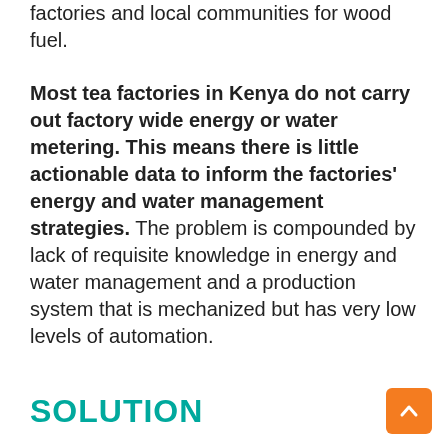factories and local communities for wood fuel.
Most tea factories in Kenya do not carry out factory wide energy or water metering. This means there is little actionable data to inform the factories' energy and water management strategies. The problem is compounded by lack of requisite knowledge in energy and water management and a production system that is mechanized but has very low levels of automation.
SOLUTION